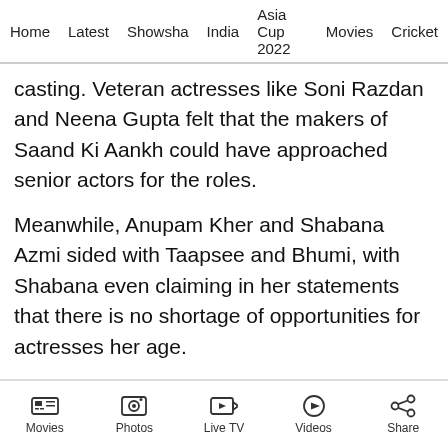Home | Latest | Showsha | India | Asia Cup 2022 | Movies | Cricket
casting. Veteran actresses like Soni Razdan and Neena Gupta felt that the makers of Saand Ki Aankh could have approached senior actors for the roles.
Meanwhile, Anupam Kher and Shabana Azmi sided with Taapsee and Bhumi, with Shabana even claiming in her statements that there is no shortage of opportunities for actresses her age.
For Super 30, a debate was stirred around how Hrithik's face was tanned for effect. Bhumi Pednekar's character in Bala was root for the
Movies | Photos | Live TV | Videos | Share